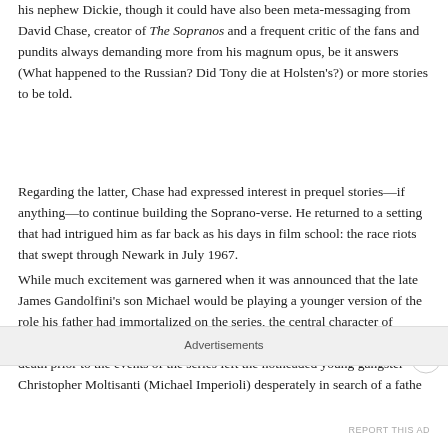his nephew Dickie, though it could have also been meta-messaging from David Chase, creator of The Sopranos and a frequent critic of the fans and pundits always demanding more from his magnum opus, be it answers (What happened to the Russian? Did Tony die at Holsten's?) or more stories to be told.
Regarding the latter, Chase had expressed interest in prequel stories—if anything—to continue building the Soprano-verse. He returned to a setting that had intrigued him as far back as his days in film school: the race riots that swept through Newark in July 1967.
While much excitement was garnered when it was announced that the late James Gandolfini's son Michael would be playing a younger version of the role his father had immortalized on the series, the central character of Chase's prequel would be Dickie Moltisanti, the smooth mafiosi whose death prior to the events of the series left the hotheaded young gangster Christopher Moltisanti (Michael Imperioli) desperately in search of a fathe...
Advertisements
REPORT THIS AD